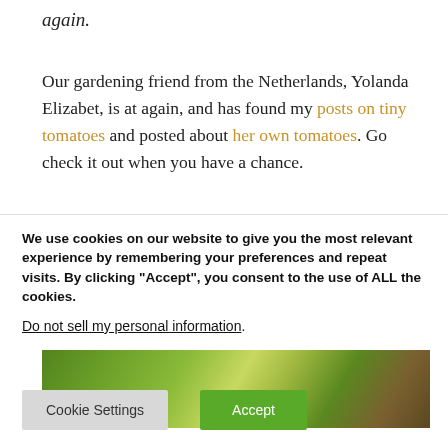again.
Our gardening friend from the Netherlands, Yolanda Elizabet, is at again, and has found my posts on tiny tomatoes and posted about her own tomatoes. Go check it out when you have a chance.
[Figure (photo): A blurred green garden photo, likely showing tomato plants or foliage.]
We use cookies on our website to give you the most relevant experience by remembering your preferences and repeat visits. By clicking “Accept”, you consent to the use of ALL the cookies.
Do not sell my personal information.
Cookie Settings  Accept